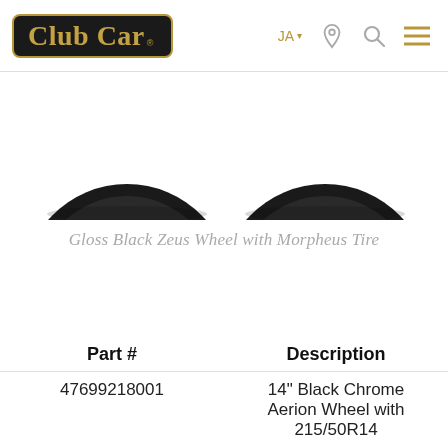Club Car — JA (navigation bar with logo, language, location, search, menu icons)
[Figure (photo): Two Gloss Black Zeus wheels with Morpheus tires, partially cropped at top, shown side by side on white background with subtle drop shadows]
Gloss Black Zeus Wheel with Morpheus Tire
| Part # | Description |
| --- | --- |
| 47699218001 | 14" Black Chrome Aerion Wheel with 215/50R14 |